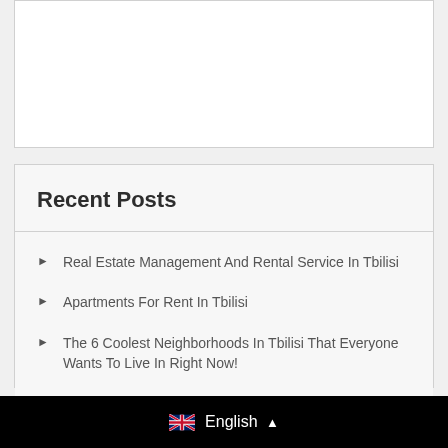Recent Posts
Real Estate Management And Rental Service In Tbilisi
Apartments For Rent In Tbilisi
The 6 Coolest Neighborhoods In Tbilisi That Everyone Wants To Live In Right Now!
Tbilisi – The City Of Tolerance!
Top 6 Tips For Renting An Apartment In Tbilisi
English